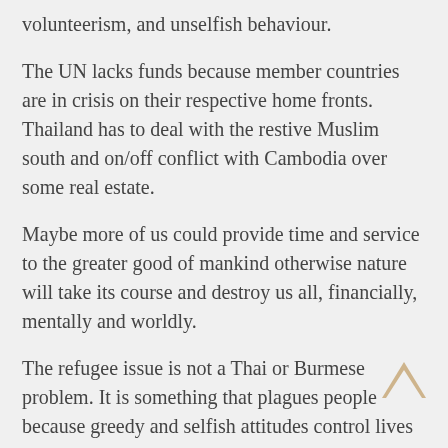volunteerism, and unselfish behaviour.
The UN lacks funds because member countries are in crisis on their respective home fronts. Thailand has to deal with the restive Muslim south and on/off conflict with Cambodia over some real estate.
Maybe more of us could provide time and service to the greater good of mankind otherwise nature will take its course and destroy us all, financially, mentally and worldly.
The refugee issue is not a Thai or Burmese problem. It is something that plagues people because greedy and selfish attitudes control lives in our society. There is no way that we will survive by treating our fellow humans with disrespect.
[Figure (illustration): An upward-pointing chevron/caret arrow icon in tan/gold color, used as a scroll-to-top button.]
Anyone who lacks the real world credentials is not